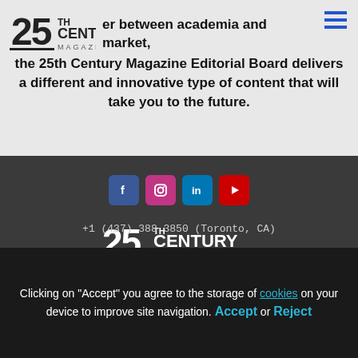[Figure (logo): 25th Century Magazine logo in top-left corner]
er between academia and market, the 25th Century Magazine Editorial Board delivers a different and innovative type of content that will take you to the future.
[Figure (other): Social media icons: Facebook, Instagram, LinkedIn, YouTube]
[Figure (logo): 25th Century Magazine white logo in footer]
Taking to the future.
25th Century – All rights reserved.
Development and protect by Kadix.
+1 (437) 388 3850 (Toronto, CA)
Clicking on "Accept" you agree to the storage of cookies on your device to improve site navigation. Accept or Reject